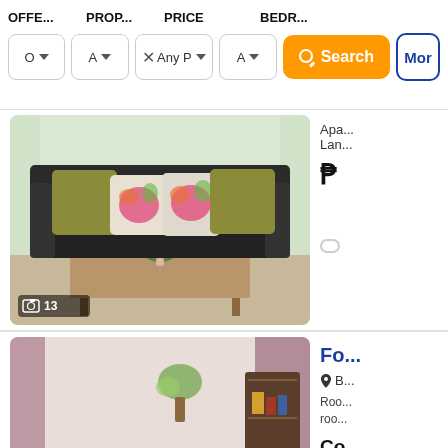OFFE... PROP... PRICE BEDR... [Search filters bar with dropdowns and Search button]
[Figure (photo): Interior photo of a living room with a black sofa, olive/gold and floral throw pillows, a wooden coffee table with a small plant. Photo counter shows camera icon and 13.]
Apa...
Lan...
₱
[button]
[Figure (photo): Interior photo of a room with pink/mauve curtains, a fan, a bookshelf, a stool, and miscellaneous items.]
Fo...
📍 B...
Roo... roo...
Co...